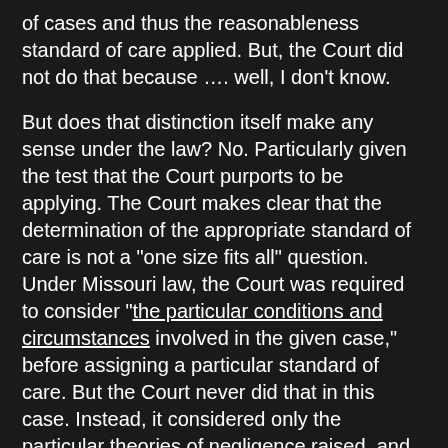of cases and thus the reasonableness standard of care applied.  But, the Court did not do that because …. well, I don't know.

But does that distinction itself make any sense under the law?  No.  Particularly given the test that the Court purports to be applying.  The Court makes clear that the determination of the appropriate standard of care is not a "one size fits all" question.  Under Missouri law, the Court was required to consider "the particular conditions and circumstances involved in the given case," before assigning a particular standard of care.  But the Court never did that in this case.  Instead, it considered only the particular theories of negligence raised, and arbitrarily created two "buckets" of cases that are easily manipulated through artful pleading.  Given the Court's opinion, no plaintiff's attorney in their right mind will plead a "negligent construction or maintenance" case against an amusement operator in Missouri ever again since to do so would be to significantly reduce the likelihood of prevailing or extracting a significant settlement.  So long as the plaintiff's injury can be connected to the operation of the ride (and, really, it will be the rare lawsuit that isn't